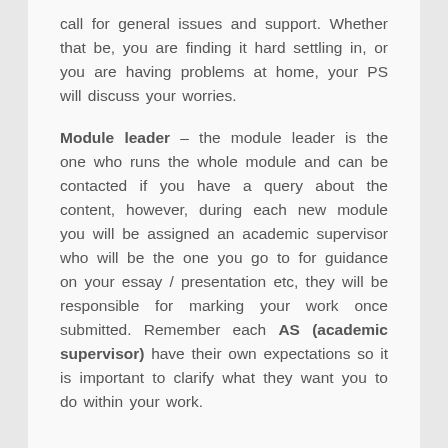call for general issues and support. Whether that be, you are finding it hard settling in, or you are having problems at home, your PS will discuss your worries.
Module leader – the module leader is the one who runs the whole module and can be contacted if you have a query about the content, however, during each new module you will be assigned an academic supervisor who will be the one you go to for guidance on your essay / presentation etc, they will be responsible for marking your work once submitted. Remember each AS (academic supervisor) have their own expectations so it is important to clarify what they want you to do within your work.